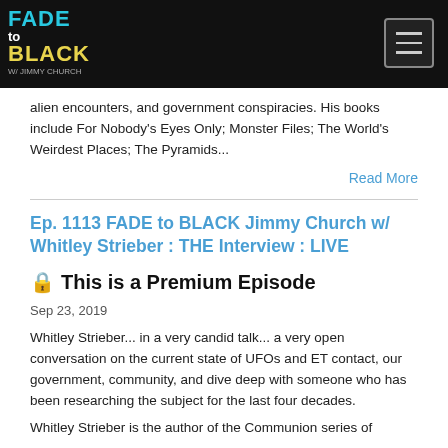FADE to BLACK with JIMMY CHURCH — navigation header
alien encounters, and government conspiracies. His books include For Nobody's Eyes Only; Monster Files; The World's Weirdest Places; The Pyramids...
Read More
Ep. 1113 FADE to BLACK Jimmy Church w/ Whitley Strieber : THE Interview : LIVE
🔒 This is a Premium Episode
Sep 23, 2019
Whitley Strieber... in a very candid talk... a very open conversation on the current state of UFOs and ET contact, our government, community, and dive deep with someone who has been researching the subject for the last four decades.
Whitley Strieber is the author of the Communion series of